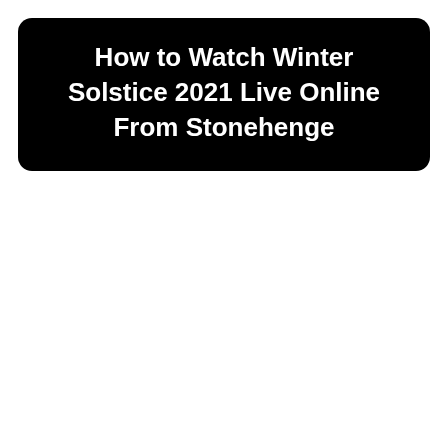How to Watch Winter Solstice 2021 Live Online From Stonehenge